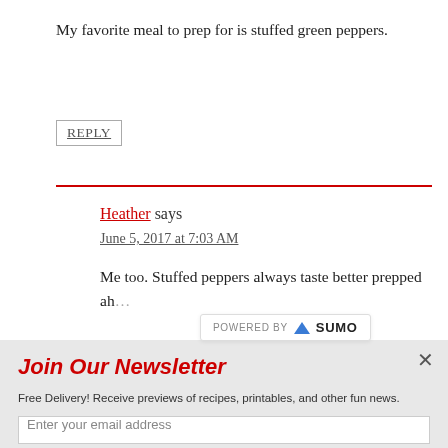My favorite meal to prep for is stuffed green peppers.
REPLY
Heather says
June 5, 2017 at 7:03 AM
Me too. Stuffed peppers always taste better prepped ah...
POWERED BY SUMO
Join Our Newsletter
Free Delivery! Receive previews of recipes, printables, and other fun news.
Enter your email address
[Figure (infographic): Advertisement banner for Dave Thomas Foundation for Adoption: Foster care without a permanent family, with a person in winter hat on the left and organization logo on the right.]